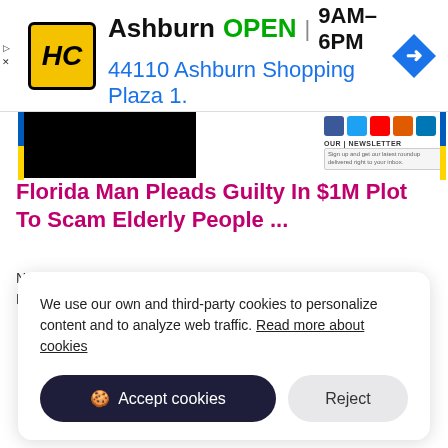[Figure (screenshot): Advertisement banner for HC (Honest Auto?) Ashburn location. Shows HC logo in yellow circle, text 'Ashburn OPEN | 9AM-6PM' and address '44110 Ashburn Shopping Plaza 1.' with a blue navigation diamond icon.]
[Figure (screenshot): Partial article page with collapsed black image bar, social media icons (Facebook, Twitter, YouTube, Email, LinkedIn), newsletter box, Ukrainian flag colored side bars, article title in pink/magenta and metadata text.]
Florida Man Pleads Guilty In $1M Plot To Scam Elderly People ...
November 4, 2020 at 12:11 pm. Filed Under:Crime, Florida Man, Fraud, BALTIMORE (CBSMiami/AP) —
We use our own and third-party cookies to personalize content and to analyze web traffic. Read more about cookies